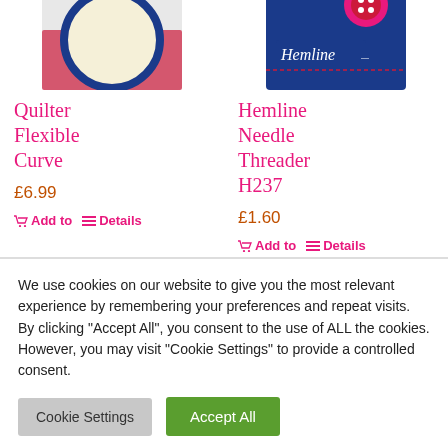[Figure (photo): Top portion of a quilter flexible curve product image - circular ruler with blue border on red/white packaging]
[Figure (photo): Top portion of Hemline Needle Threader product image - red button on blue fabric with Hemline logo]
Quilter Flexible Curve
£6.99
Add to
Details
Hemline Needle Threader H237
£1.60
Add to
Details
We use cookies on our website to give you the most relevant experience by remembering your preferences and repeat visits. By clicking "Accept All", you consent to the use of ALL the cookies. However, you may visit "Cookie Settings" to provide a controlled consent.
Cookie Settings
Accept All